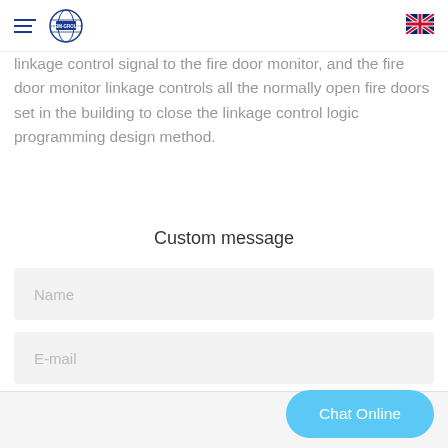CBM-GROUP
linkage control signal to the fire door monitor, and the fire door monitor linkage controls all the normally open fire doors set in the building to close the linkage control logic programming design method.
Custom message
Name
E-mail
Company Name
Chat Online